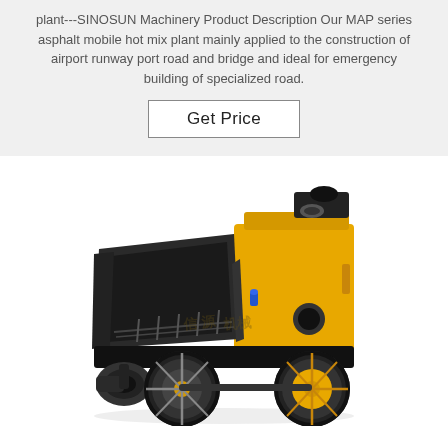plant---SINOSUN Machinery Product Description Our MAP series asphalt mobile hot mix plant mainly applied to the construction of airport runway port road and bridge and ideal for emergency building of specialized road.
Get Price
[Figure (photo): Yellow and black asphalt mobile hot mix plant / concrete pump machine on wheels, with a large black hopper/bin on the front, yellow engine housing on the right side, and large rubber wheels. The machine has a circular outlet nozzle at the front-bottom. Chinese watermark text visible in the center of the image.]